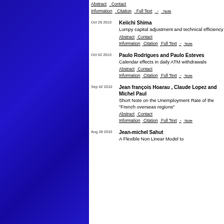Abstract  Contact
Information  Citation  Full Text  -  Note
Oct 28 2010  Keiichi Shima
Lumpy capital adjustment and technical efficiency
Abstract  Contact
Information  Citation  Full Text  -  Note
Oct 02 2010  Paulo Rodrigues and Paulo Esteves
Calendar effects in daily ATM withdrawals
Abstract  Contact
Information  Citation  Full Text  -  Note
Sep 02 2010  Jean françois Hoarau , Claude Lopez and Michel Paul
Short Note on the Unemployment Rate of the "French overseas regions"
Abstract  Contact
Information  Citation  Full Text  -  Note
Aug 28 2010  Jean-michel Sahut
A Flexible Non Linear Model to